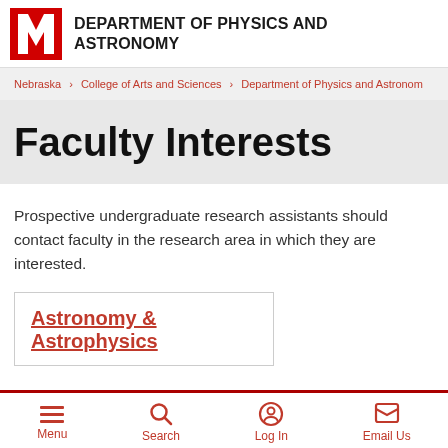DEPARTMENT OF PHYSICS AND ASTRONOMY
Nebraska › College of Arts and Sciences › Department of Physics and Astronomy
Faculty Interests
Prospective undergraduate research assistants should contact faculty in the research area in which they are interested.
Astronomy & Astrophysics
Menu  Search  Log In  Email Us